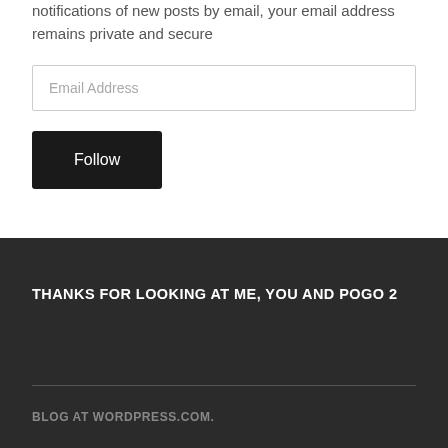notifications of new posts by email, your email address remains private and secure
[Figure (other): Email address input field with placeholder text 'Email Address']
[Figure (other): Dark 'Follow' button]
THANKS FOR LOOKING AT ME, YOU AND POGO 2
BLOG AT WORDPRESS.COM.